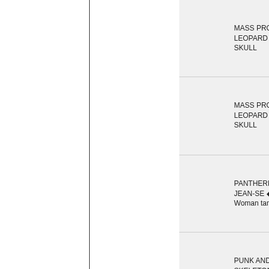| Image | Product Name | Price |
| --- | --- | --- |
|  | MASS PROD LEOPARD SKULL | 15.00EUR |
|  | MASS PROD LEOPARD SKULL | 15.00EUR |
|  | PANTHERE JEAN-SE ◆ Woman tank top | 15.00EUR |
|  | PUNK AND SKELETON ◆ Girly | 15.00EUR |